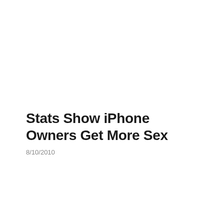Stats Show iPhone Owners Get More Sex
8/10/2010